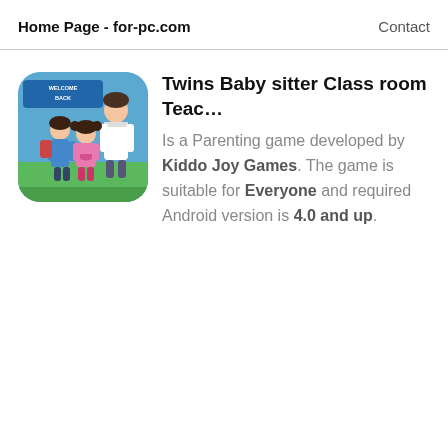Home Page - for-pc.com    Contact
[Figure (illustration): App icon for Twins Baby sitter Class room Teacher game showing cartoon children and teacher characters]
Twins Baby sitter Class room Teac…
Is a Parenting game developed by Kiddo Joy Games. The game is suitable for Everyone and required Android version is 4.0 and up.